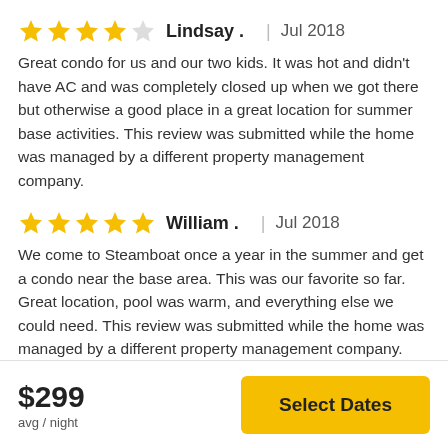Lindsay . | Jul 2018 — 4 stars. Great condo for us and our two kids. It was hot and didn't have AC and was completely closed up when we got there but otherwise a good place in a great location for summer base activities. This review was submitted while the home was managed by a different property management company.
William . | Jul 2018 — 5 stars. We come to Steamboat once a year in the summer and get a condo near the base area. This was our favorite so far. Great location, pool was warm, and everything else we could need. This review was submitted while the home was managed by a different property management company.
Joe . | Jun 2018 — 4 stars. Condo was as described by Turnkey and as one reviewer
$299 avg / night
Select Dates